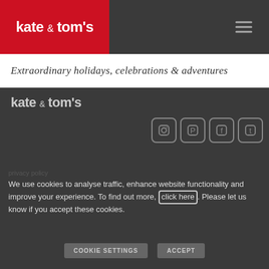[Figure (logo): kate & tom's logo — white text on red background in navigation bar]
Extraordinary holidays, celebrations & adventures
kate & tom's (dark section logo)
Extraordinary holidays, celebrations & adventures (dark section)
kate & tom's
about us
our blog
privacy policy
We use cookies to analyse traffic, enhance website functionality and improve your experience. To find out more, click here. Please let us know if you accept these cookies.